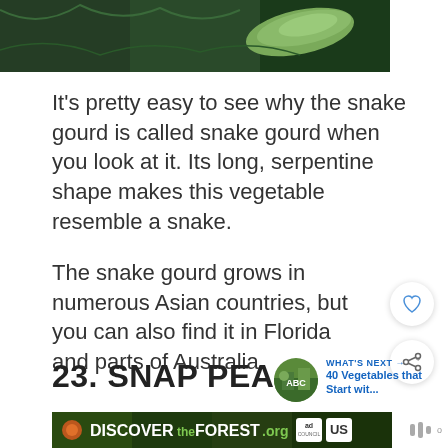[Figure (photo): Close-up photo of a snake gourd vegetable hanging on a vine, with green foliage in the background]
It's pretty easy to see why the snake gourd is called snake gourd when you look at it. Its long, serpentine shape makes this vegetable resemble a snake.
The snake gourd grows in numerous Asian countries, but you can also find it in Florida and parts of Australia.
23. SNAP PEA
[Figure (photo): Thumbnail image for 'What's Next' link showing vegetables]
WHAT'S NEXT → 40 Vegetables that Start wit...
[Figure (photo): Advertisement banner for DISCOVERtheFOREST.org with forest imagery and ad council / US Forest Service logos]